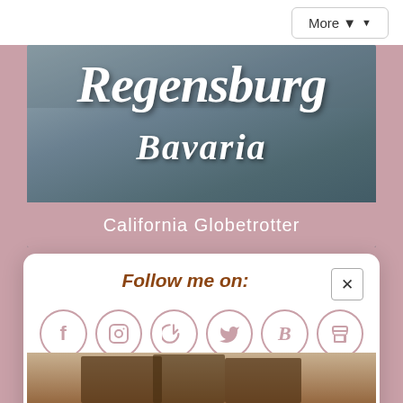[Figure (screenshot): Top navigation bar with 'More' dropdown button]
[Figure (photo): Banner image showing Regensburg Bavaria travel blog header with photo of people near a river, overlaid with handwritten-style text 'Regensburg Bavaria' and 'California Globetrotter' on a pink bar]
Follow me on:
[Figure (infographic): Social media icons in circles: Facebook, Instagram, Pinterest, Twitter, Bloglovin, RSS]
Or sign up to my newsletter
[Figure (screenshot): Email subscribe form with envelope icon, 'Subscribe' placeholder text, and 'Sign Up!' button]
[Figure (photo): Partial bottom preview image showing beach chairs and thatched umbrellas]